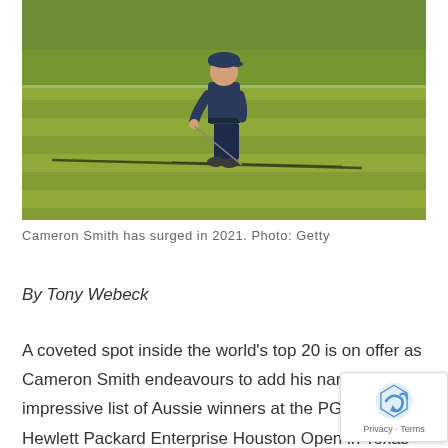[Figure (photo): A golfer (Cameron Smith) mid-swing on a green fairway with visible mowing stripes. The golfer is wearing dark pants and a light top. A club shadow extends across the ground.]
Cameron Smith has surged in 2021. Photo: Getty
By Tony Webeck
A coveted spot inside the world’s top 20 is on offer as Cameron Smith endeavours to add his name to an impressive list of Aussie winners at the PGA Tour’s Hewlett Packard Enterprise Houston Open in Texas